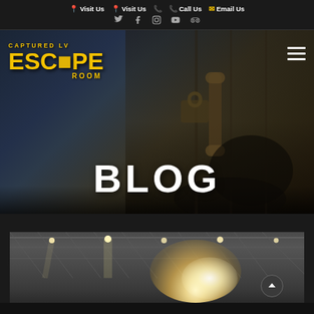Visit Us | Visit Us | Call Us | Email Us
[Figure (screenshot): Website screenshot for Captured LV Escape Room blog page. Dark theme navigation bar with Visit Us (x2), Call Us, Email Us links and social media icons (Twitter, Facebook, Instagram, YouTube, TripAdvisor). Hero banner with dark lock/door background showing 'BLOG' in large white bold text. Yellow distressed logo 'CAPTURED LV ESCAPE ROOM' top left. Hamburger menu top right. Bottom section shows partial image of warehouse/arena interior with bright light burst, ceiling structure.]
BLOG
[Figure (photo): Partial image of a warehouse or arena interior with visible ceiling trusses/structure and a bright glowing light burst effect in the center-right area.]